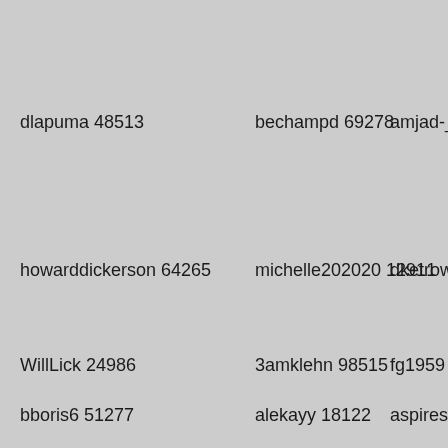dlapuma 48513
bechampd 69278
amjad-_2007
howarddickerson 64265
michelle202020 12911
dketrow 186
WillLick 24986
3amklehn 98515
fg1959 3787
bboris6 51277
alekayy 18122
aspiresald 76